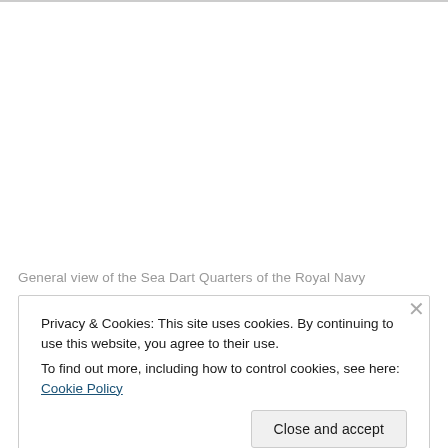General view of the Sea Dart Quarters of the Royal Navy
Privacy & Cookies: This site uses cookies. By continuing to use this website, you agree to their use.
To find out more, including how to control cookies, see here: Cookie Policy
Close and accept